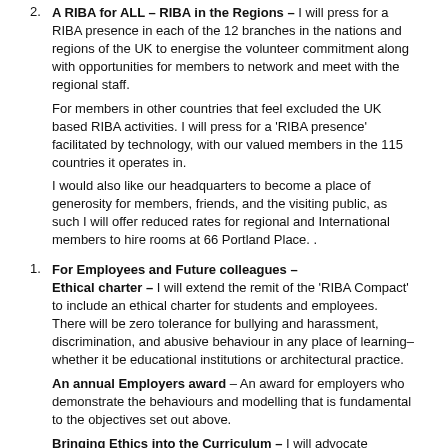2. A RIBA for ALL – RIBA in the Regions – I will press for a RIBA presence in each of the 12 branches in the nations and regions of the UK to energise the volunteer commitment along with opportunities for members to network and meet with the regional staff.
For members in other countries that feel excluded the UK based RIBA activities. I will press for a 'RIBA presence' facilitated by technology, with our valued members in the 115 countries it operates in.
I would also like our headquarters to become a place of generosity for members, friends, and the visiting public, as such I will offer reduced rates for regional and International members to hire rooms at 66 Portland Place. .
1. For Employees and Future colleagues –
Ethical charter – I will extend the remit of the 'RIBA Compact' to include an ethical charter for students and employees. There will be zero tolerance for bullying and harassment, discrimination, and abusive behaviour in any place of learning– whether it be educational institutions or architectural practice.
An annual Employers award – An award for employers who demonstrate the behaviours and modelling that is fundamental to the objectives set out above.
Bringing Ethics into the Curriculum – I will advocate integrating into the curriculum...